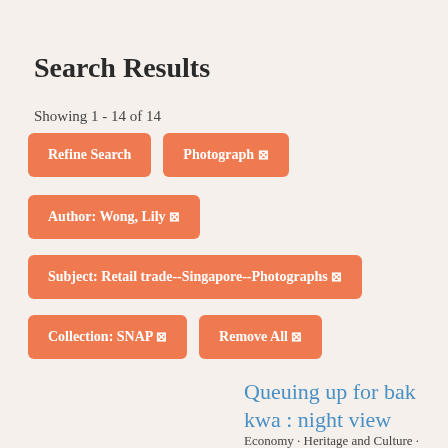Search Results
Showing 1 - 14 of 14
Refine Search
Photograph ×
Author:  Wong, Lily ×
Subject:  Retail trade--Singapore--Photographs ×
Collection:  SNAP ×
Remove All ×
Queuing up for bak kwa : night view
Economy · Heritage and Culture · Wong, Lily · Little Red Dot Collection